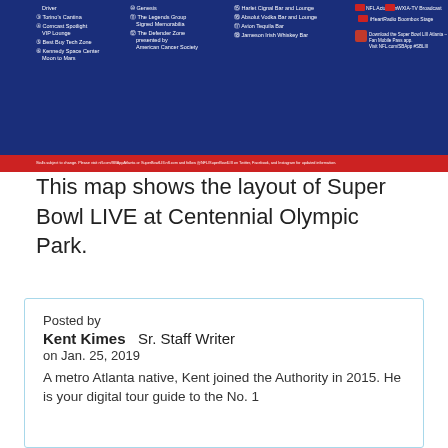[Figure (map): Map showing layout of Super Bowl LIVE at Centennial Olympic Park with numbered locations legend on dark blue and red background]
This map shows the layout of Super Bowl LIVE at Centennial Olympic Park.
[Figure (infographic): Like button showing thumbs up icon with count 1, and a dislike/thumbs down button]
Posted by
Kent Kimes   Sr. Staff Writer
on Jan. 25, 2019
A metro Atlanta native, Kent joined the Authority in 2015. He is your digital tour guide to the No. 1